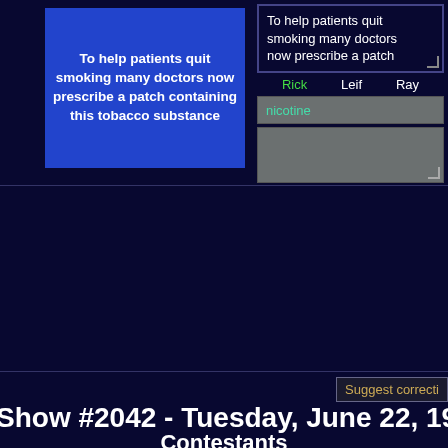To help patients quit smoking many doctors now prescribe a patch containing this tobacco substance
To help patients quit smoking many doctors now prescribe a patch
Rick   Leif   Ray
nicotine
Suggest correcti
Show #2042 - Tuesday, June 22, 1993
Contestants